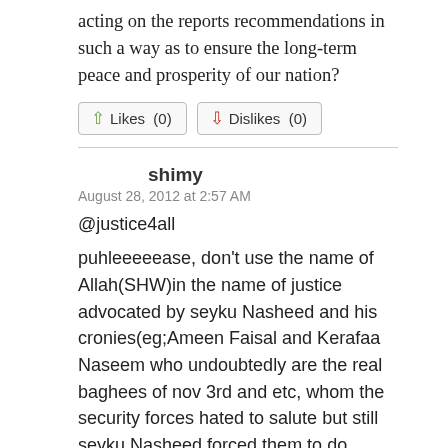acting on the reports recommendations in such a way as to ensure the long-term peace and prosperity of our nation?
[Figure (other): Likes (0) and Dislikes (0) buttons with thumbs up and thumbs down icons]
shimy
August 28, 2012 at 2:57 AM
@justice4all
puhleeeeease, don't use the name of Allah(SHW)in the name of justice advocated by seyku Nasheed and his cronies(eg;Ameen Faisal and Kerafaa Naseem who undoubtedly are the real baghees of nov 3rd and etc, whom the security forces hated to salute but still seyku Nasheed forced them to do whatsoever)